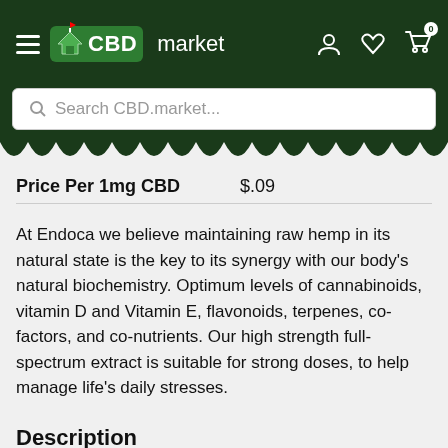[Figure (screenshot): CBD.market website header with dark green navigation bar showing hamburger menu, CBD market logo, and icons for user account, wishlist, and shopping cart with 0 items, plus a search bar below reading 'Search CBD.market...']
Price Per 1mg CBD   $.09
At Endoca we believe maintaining raw hemp in its natural state is the key to its synergy with our body's natural biochemistry. Optimum levels of cannabinoids, vitamin D and Vitamin E, flavonoids, terpenes, co-factors, and co-nutrients. Our high strength full-spectrum extract is suitable for strong doses, to help manage life's daily stresses.
Description